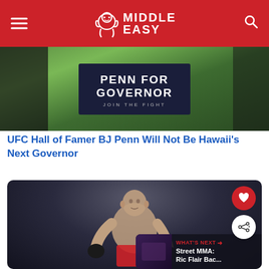Middle Easy
[Figure (photo): Person wearing a dark shirt that reads PENN FOR GOVERNOR JOIN THE FIGHT, standing outdoors with green trees in background]
UFC Hall of Famer BJ Penn Will Not Be Hawaii's Next Governor
[Figure (photo): MMA fighter in fighting stance against dark background, wearing red shorts and black gloves, with social sharing buttons and What's Next widget showing Street MMA: Ric Flair Bac...]